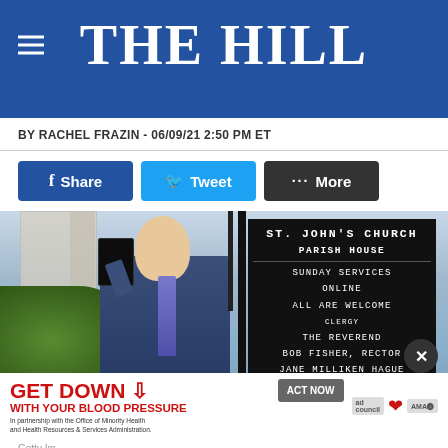THE HILL
BY RACHEL FRAZIN - 06/09/21 2:50 PM ET
[Figure (photo): Donald Trump standing in front of St. John's Church Parish House, holding up a Bible with his right hand, dressed in a blue suit. The church's bulletin board is visible showing 'ST. JOHN'S CHURCH PARISH HOUSE', 'SUNDAY SERVICES ONLINE', 'ALL ARE WELCOME', 'CLERGY', 'THE REVEREND', 'BOB FISHER, RECTOR', 'JANE MILLIKEN HAGUE', 'WILLIAM MORRIS', 'SAVANNAH PO...']
Getty Im...
GET DOWN WITH YOUR BLOOD PRESSURE - ACT NOW - In partnership with the Office of Minority Health and Health Resources & Services Administration.